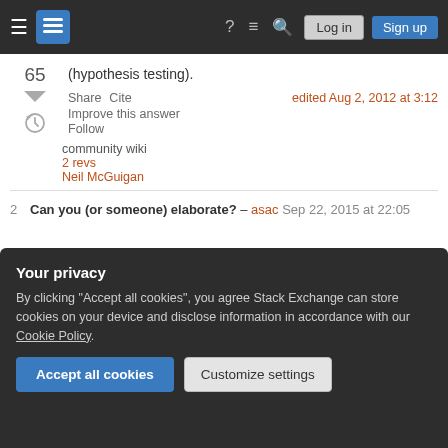Stack Exchange navigation bar with Log in and Sign up buttons
(hypothesis testing).
Share   Cite   edited Aug 2, 2012 at 3:12
Improve this answer
Follow
community wiki
2 revs
Neil McGuigan
2   Can you (or someone) elaborate? – asac Sep 22, 2015 at 22:05
Your privacy
By clicking "Accept all cookies", you agree Stack Exchange can store cookies on your device and disclose information in accordance with our Cookie Policy.
Accept all cookies   Customize settings
19, 2015 at 15:46